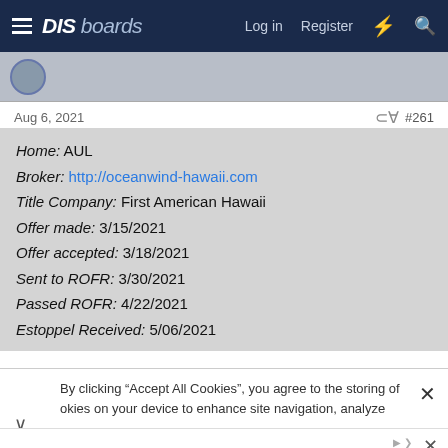DIS boards   Log in   Register
Aug 6, 2021   #261
Home: AUL
Broker: http://oceanwind-hawaii.com
Title Company: First American Hawaii
Offer made: 3/15/2021
Offer accepted: 3/18/2021
Sent to ROFR: 3/30/2021
Passed ROFR: 4/22/2021
Estoppel Received: 5/06/2021
By clicking “Accept All Cookies”, you agree to the storing of cookies on your device to enhance site navigation, analyze
Schedule A Tour
Offering Two Outdoor Ceremony Locations
ARCC